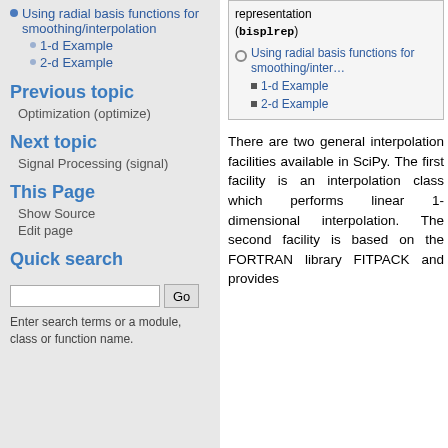Using radial basis functions for smoothing/interpolation
1-d Example
2-d Example
Previous topic
Optimization (optimize)
Next topic
Signal Processing (signal)
This Page
Show Source
Edit page
Quick search
Enter search terms or a module, class or function name.
[Figure (other): Table of contents box showing: representation (bisplrep), Using radial basis functions for smoothing/interpolation, 1-d Example, 2-d Example]
There are two general interpolation facilities available in SciPy. The first facility is an interpolation class which performs linear 1-dimensional interpolation. The second facility is based on the FORTRAN library FITPACK and provides